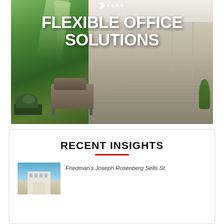[Figure (photo): Hero image advertising 'Flexible Office Solutions' with FLEX logo at top. Split scene: left side shows a green forest/nature mural with a modern sofa and plants; right side shows a sleek modern office lobby with marble floors and high ceilings. White bold text overlays reading 'FLEXIBLE OFFICE SOLUTIONS'.]
RECENT INSIGHTS
[Figure (photo): Thumbnail photo showing a building exterior with blue sky background.]
Friedman's Joseph Rosenberg Sells St.